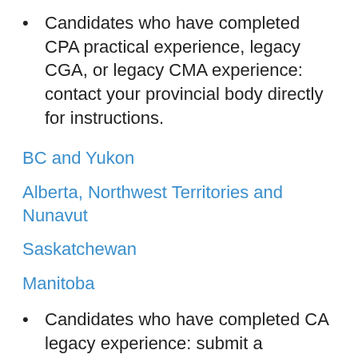Candidates who have completed CPA practical experience, legacy CGA, or legacy CMA experience: contact your provincial body directly for instructions.
BC and Yukon
Alberta, Northwest Territories and Nunavut
Saskatchewan
Manitoba
Candidates who have completed CA legacy experience: submit a Competency-Based Confirmation of Practical Experience Certificate to the email address noted on the form (For MB: Please